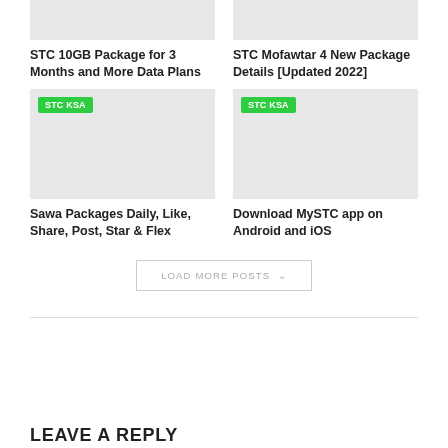[Figure (photo): Placeholder image top-left (grey box)]
[Figure (photo): Placeholder image top-right (grey box)]
STC 10GB Package for 3 Months and More Data Plans
STC Mofawtar 4 New Package Details [Updated 2022]
[Figure (photo): Placeholder image bottom-left with STC KSA badge (grey box)]
[Figure (photo): Placeholder image bottom-right with STC KSA badge (grey box)]
Sawa Packages Daily, Like, Share, Post, Star & Flex
Download MySTC app on Android and iOS
LOAD MORE POSTS ∨
LEAVE A REPLY